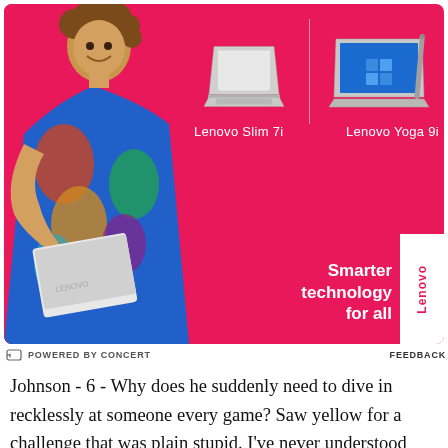[Figure (advertisement): Lenovo advertisement with pink/hot pink background showing a woman holding a laptop in colorful outfit on the left, and two Lenovo laptop products on the right: Lenovo Slim 7i and Lenovo Yoga 9i with tagline 'Smarter technology for all' and Lenovo logo badge]
POWERED BY CONCERT    FEEDBACK
Johnson - 6 - Why does he suddenly need to dive in recklessly at someone every game? Saw yellow for a challenge that was plain stupid. I've never understood why a player would go dangerously in on a play in the